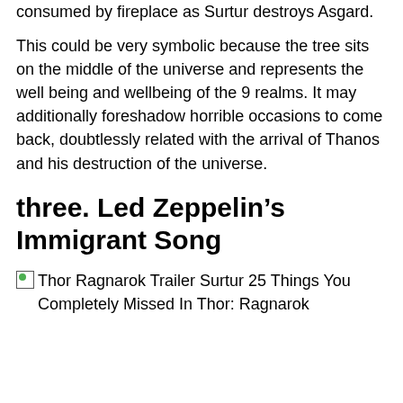consumed by fireplace as Surtur destroys Asgard.
This could be very symbolic because the tree sits on the middle of the universe and represents the well being and wellbeing of the 9 realms. It may additionally foreshadow horrible occasions to come back, doubtlessly related with the arrival of Thanos and his destruction of the universe.
three. Led Zeppelin’s Immigrant Song
[Figure (photo): Broken image placeholder with alt text: Thor Ragnarok Trailer Surtur 25 Things You Completely Missed In Thor: Ragnarok]